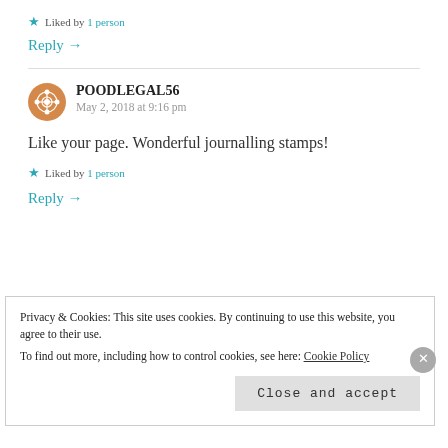★ Liked by 1 person
Reply →
POODLEGAL56
May 2, 2018 at 9:16 pm
Like your page. Wonderful journalling stamps!
★ Liked by 1 person
Reply →
Privacy & Cookies: This site uses cookies. By continuing to use this website, you agree to their use.
To find out more, including how to control cookies, see here: Cookie Policy
Close and accept